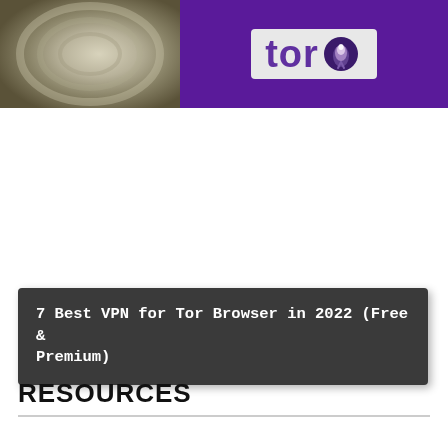[Figure (illustration): Split image: left side shows a beige/khaki swirling textured spiral pattern, right side shows a purple background with a white card displaying the Tor browser logo (stylized onion icon with the letters 'tor' in purple)]
7 Best VPN for Tor Browser in 2022 (Free & Premium)
RESOURCES